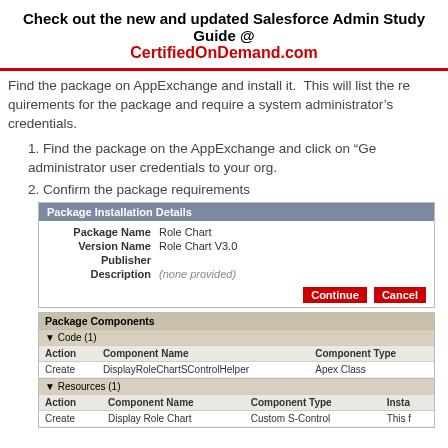Check out the new and updated Salesforce Admin Study Guide @ CertifiedOnDemand.com
Find the package on AppExchange and install it. This will list the requirements for the package and require a system administrator’s credentials.
1. Find the package on the AppExchange and click on “Ge” administrator user credentials to your org.
2. Confirm the package requirements
[Figure (screenshot): Package Installation Details screenshot showing Package Name: Role Chart, Version Name: Role Chart V3.0, Publisher: (blank), Description: (none provided), with Continue and Cancel buttons]
[Figure (screenshot): Package Components screenshot showing Code(1) section with Action: Create, Component Name: DisplayRoleChartSControlHelper, Component Type: Apex Class; and Resources(1) section with Action: Create, Component Name: Display Role Chart, Component Type: Custom S-Control]